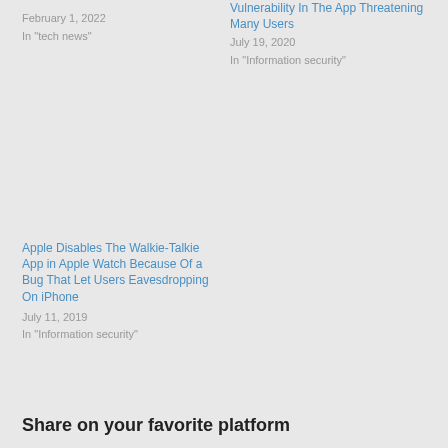February 1, 2022
In "tech news"
Vulnerability In The App Threatening Many Users
July 19, 2020
In "Information security"
Apple Disables The Walkie-Talkie App in Apple Watch Because Of a Bug That Let Users Eavesdropping On iPhone
July 11, 2019
In "Information security"
Share on your favorite platform